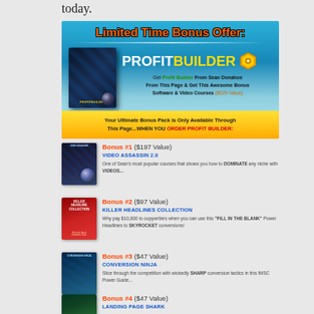today.
[Figure (infographic): Limited Time Bonus Offer: ProfitBuilder promotional banner with blue gradient background, product box image, ProfitBuilder logo, description text, and yellow CTA bar reading 'Your Ultimate Bonus Pack is Only Available Through This Page...WHEN YOU ORDER PROFIT BUILDER:']
Bonus #1 ($197 Value) VIDEO ASSASSIN 2.0 — One of Sean's most popular courses that shows you how to DOMINATE any niche with VIDEOS...
Bonus #2 ($97 Value) KILLER HEADLINES COLLECTION — Why pay $10,000 to copywriters when you can use this "FILL IN THE BLANK" Power Headlines to SKYROCKET conversions!
Bonus #3 ($47 Value) CONVERSION NINJA — Slice through the competition with wickedly SHARP conversion tactics in this IMSC Power Guide...
Bonus #4 ($47 Value) LANDING PAGE SHARK